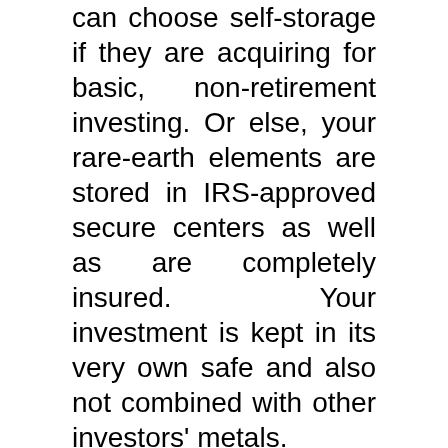can choose self-storage if they are acquiring for basic, non-retirement investing. Or else, your rare-earth elements are stored in IRS-approved secure centers as well as are completely insured. Your investment is kept in its very own safe and also not combined with other investors' metals.
[Figure (other): Red and gold gradient call-to-action button with text 'GET GOLDCO'S FREE GUIDE' in white bold letters]
Trust is a crucial element when choosing a rare-earth elements carrier. It's worth pointing out that Goldco obtains some of the highest possible marks for reliability we've seen amongst the priceless steel IRA